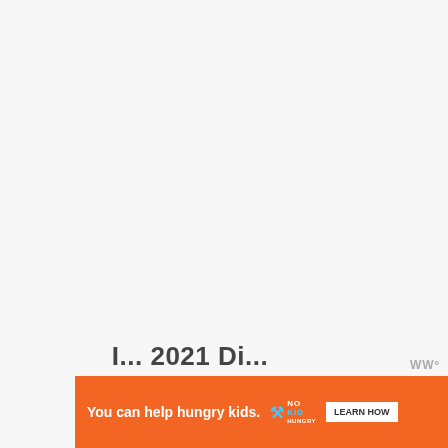[Figure (other): Mostly blank/white page content area, appears to be a web page screenshot with large empty space]
I... 2021 Di...
[Figure (other): Advertisement banner: orange background with text 'You can help hungry kids.' No Kid Hungry logo and 'LEARN HOW' button, with close X button]
WWº